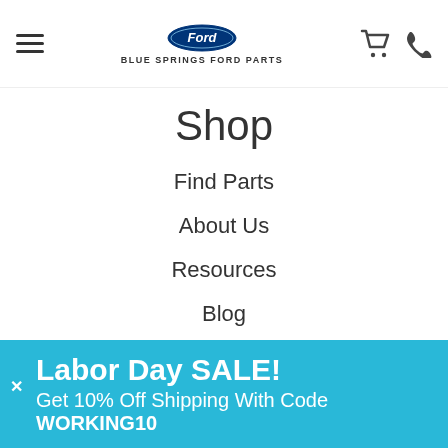Blue Springs Ford Parts — navigation header with hamburger menu, Ford logo, cart and phone icons
Shop
Find Parts
About Us
Resources
Blog
Contact
Customer Service
FAQs
Reviews
Return Policy
Labor Day SALE! Get 10% Off Shipping With Code WORKING10